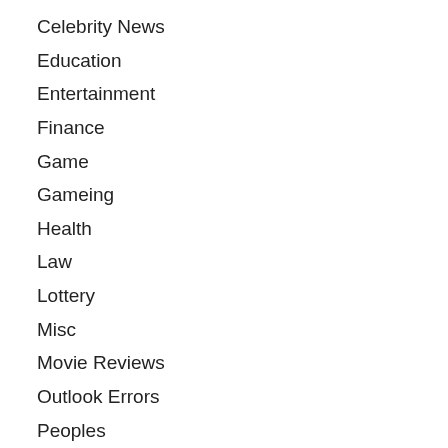Celebrity News
Education
Entertainment
Finance
Game
Gameing
Health
Law
Lottery
Misc
Movie Reviews
Outlook Errors
Peoples
Sports